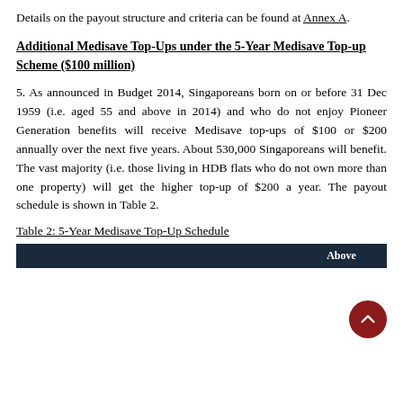Details on the payout structure and criteria can be found at Annex A.
Additional Medisave Top-Ups under the 5-Year Medisave Top-up Scheme ($100 million)
5. As announced in Budget 2014, Singaporeans born on or before 31 Dec 1959 (i.e. aged 55 and above in 2014) and who do not enjoy Pioneer Generation benefits will receive Medisave top-ups of $100 or $200 annually over the next five years. About 530,000 Singaporeans will benefit. The vast majority (i.e. those living in HDB flats who do not own more than one property) will get the higher top-up of $200 a year. The payout schedule is shown in Table 2.
Table 2: 5-Year Medisave Top-Up Schedule
|  |  | Above |
| --- | --- | --- |